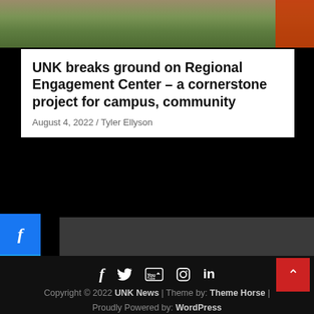[Figure (photo): Outdoor ground-breaking photo showing dirt/grass with orange cones or flags visible at right edge]
UNK breaks ground on Regional Engagement Center – a cornerstone project for campus, community
August 4, 2022 / Tyler Ellyson
[Figure (infographic): Social media share buttons on left sidebar: Facebook (f), Twitter (bird), LinkedIn (in)]
[Figure (infographic): Dark gray content area and black footer with social media icons (f, Twitter bird, YouTube, Instagram, LinkedIn), back-to-top red button with caret, and copyright text]
Copyright © 2022 UNK News  |  Theme by: Theme Horse  |  Proudly Powered by: WordPress